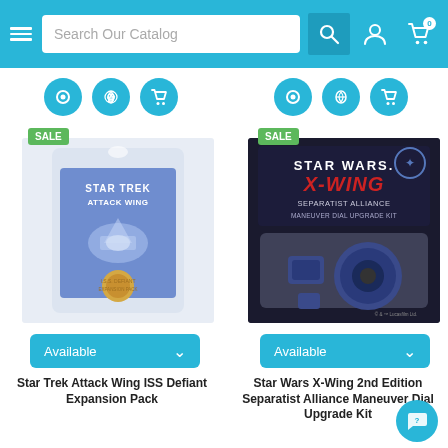Search Our Catalog
[Figure (screenshot): Star Trek Attack Wing ISS Defiant Expansion Pack product image with SALE badge]
[Figure (screenshot): Star Wars X-Wing 2nd Edition Separatist Alliance Maneuver Dial Upgrade Kit product image with SALE badge]
Available
Available
Star Trek Attack Wing ISS Defiant Expansion Pack
Star Wars X-Wing 2nd Edition Separatist Alliance Maneuver Dial Upgrade Kit